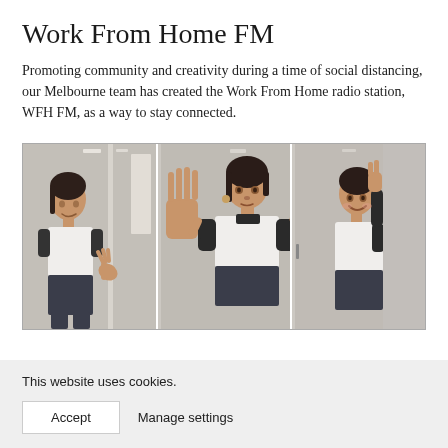Work From Home FM
Promoting community and creativity during a time of social distancing, our Melbourne team has created the Work From Home radio station, WFH FM, as a way to stay connected.
[Figure (photo): Three panel photo collage showing the same young woman in three poses: left panel - standing sideways with hand lowered, center panel - facing camera with both hands raised open toward viewer, right panel - smiling and gesturing to the side. She wears a white and black crop top with dark shorts. Background shows a white door interior.]
This website uses cookies.
Accept   Manage settings